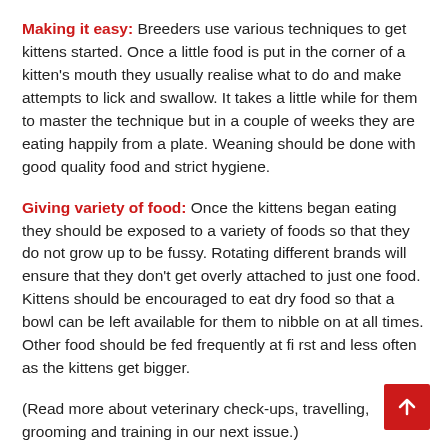Making it easy: Breeders use various techniques to get kittens started. Once a little food is put in the corner of a kitten's mouth they usually realise what to do and make attempts to lick and swallow. It takes a little while for them to master the technique but in a couple of weeks they are eating happily from a plate. Weaning should be done with good quality food and strict hygiene.
Giving variety of food: Once the kittens began eating they should be exposed to a variety of foods so that they do not grow up to be fussy. Rotating different brands will ensure that they don't get overly attached to just one food. Kittens should be encouraged to eat dry food so that a bowl can be left available for them to nibble on at all times. Other food should be fed frequently at first and less often as the kittens get bigger.
(Read more about veterinary check-ups, travelling, grooming and training in our next issue.)